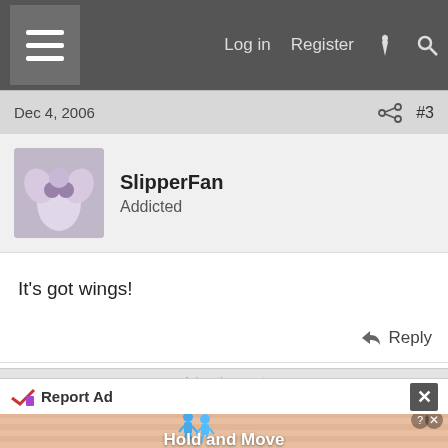Log in  Register
Dec 4, 2006  #3
SlipperFan
Addicted
It's got wings!
Reply
Advertisement
Report Ad
Hold and Move